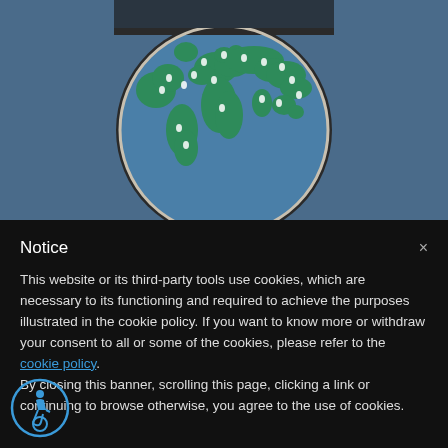[Figure (illustration): A stylized globe showing world map in green and blue, partially cropped at top, with location pin markers scattered across various continents. Dark circle border around the globe on a steel blue background.]
Notice
This website or its third-party tools use cookies, which are necessary to its functioning and required to achieve the purposes illustrated in the cookie policy. If you want to know more or withdraw your consent to all or some of the cookies, please refer to the cookie policy.
By closing this banner, scrolling this page, clicking a link or continuing to browse otherwise, you agree to the use of cookies.